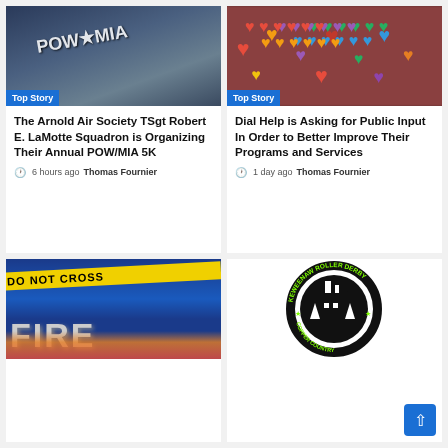[Figure (photo): People holding a POW/MIA flag, with a 'Top Story' badge overlay]
The Arnold Air Society TSgt Robert E. LaMotte Squadron is Organizing Their Annual POW/MIA 5K
6 hours ago  Thomas Fournier
[Figure (photo): Colorful heart decorations on a brick wall window, with a 'Top Story' badge overlay]
Dial Help is Asking for Public Input In Order to Better Improve Their Programs and Services
1 day ago  Thomas Fournier
[Figure (photo): Crime scene tape reading DO NOT CROSS over a FIRE background with flames]
[Figure (logo): Keweenaw Roller Derby, Copper Country logo — circular badge with black silhouette of mine building and trees, green accents]